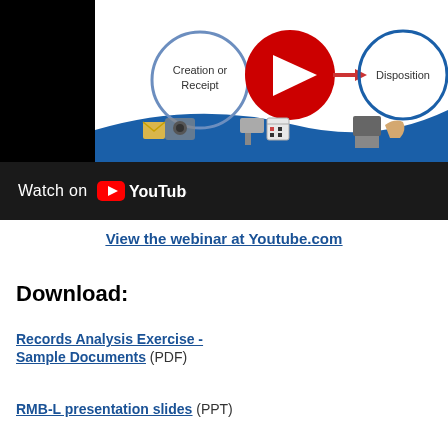[Figure (screenshot): YouTube video thumbnail showing a records management lifecycle diagram with 'Creation or Receipt' and 'Disposition' circles, icons for camera, USB drive, calendar, and shredder, with a blue wave design. A 'Watch on YouTube' bar appears at the bottom.]
View the webinar at Youtube.com
Download:
Records Analysis Exercise - Sample Documents (PDF)
RMB-L presentation slides (PPT)